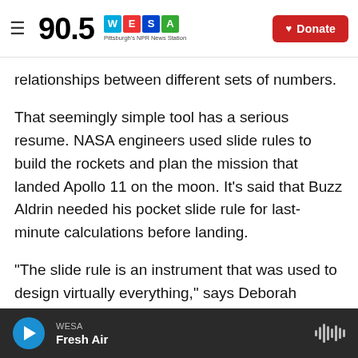90.5 WESA — Pittsburgh's NPR News Station | Donate
relationships between different sets of numbers.
That seemingly simple tool has a serious resume. NASA engineers used slide rules to build the rockets and plan the mission that landed Apollo 11 on the moon. It's said that Buzz Aldrin needed his pocket slide rule for last-minute calculations before landing.
"The slide rule is an instrument that was used to design virtually everything," says Deborah Douglas, the director of collections and curator of science and technology at the MIT Museum in Cambridge,
WESA — Fresh Air